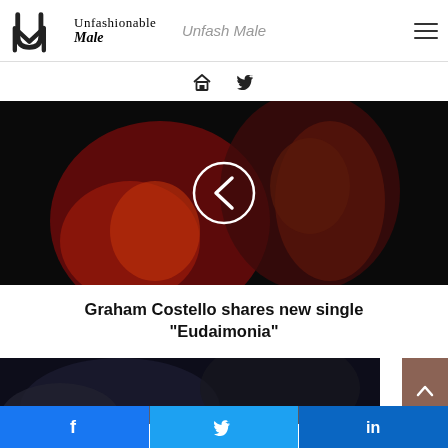Unfashionable Male | Unfash Male
[Figure (screenshot): Dark music video thumbnail showing two figures illuminated in red lighting, with a circular back/play button overlay in the center]
Graham Costello shares new single "Eudaimonia"
[Figure (photo): Partial dark image visible at bottom of page]
Share buttons: Facebook, Twitter, LinkedIn